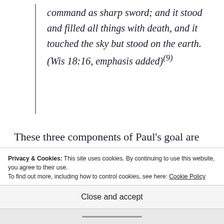command as sharp sword; and it stood and filled all things with death, and it touched the sky but stood on the earth. (Wis 18:16, emphasis added)(9)
These three components of Paul’s goal are connected with conjunctions that indicate these three things—a pure heart, a good conscience, and faith
Privacy & Cookies: This site uses cookies. By continuing to use this website, you agree to their use.
To find out more, including how to control cookies, see here: Cookie Policy
Close and accept